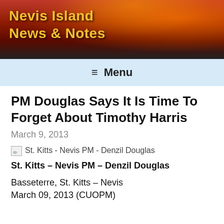Nevis Island News & Notes
≡ Menu
PM Douglas Says It Is Time To Forget About Timothy Harris
March 9, 2013
[Figure (photo): St. Kitts - Nevis PM - Denzil Douglas (broken image placeholder)]
St. Kitts – Nevis PM – Denzil Douglas
Basseterre, St. Kitts – Nevis March 09, 2013 (CUOPM)